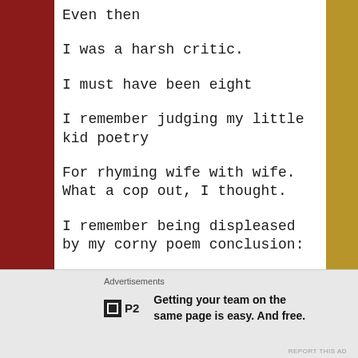Even then
I was a harsh critic.
I must have been eight
I remember judging my little kid poetry
For rhyming wife with wife. What a cop out, I thought.
I remember being displeased by my corny poem conclusion:
Advertisements
P2 Getting your team on the same page is easy. And free.